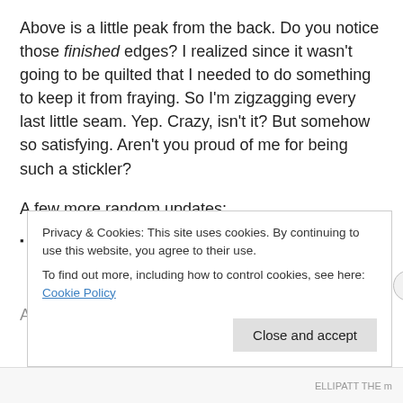Above is a little peak from the back. Do you notice those finished edges? I realized since it wasn't going to be quilted that I needed to do something to keep it from fraying. So I'm zigzagging every last little seam. Yep. Crazy, isn't it? But somehow so satisfying. Aren't you proud of me for being such a stickler?
A few more random updates:
just finished The Hunger Games trilogy. Whew! What a ride! I can't believe it took me so long to pick them up.
Although, it's kind of nice to be able to read the whole...
Privacy & Cookies: This site uses cookies. By continuing to use this website, you agree to their use.
To find out more, including how to control cookies, see here: Cookie Policy